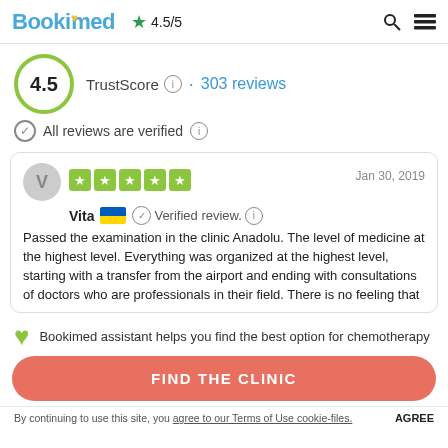Bookimed ★ 4.5/5
4.5 TrustScore · 303 reviews
All reviews are verified
V  Vita 🇺🇦 ✓ Verified review.  Jan 30, 2019
Passed the examination in the clinic Anadolu. The level of medicine at the highest level. Everything was organized at the highest level, starting with a transfer from the airport and ending with consultations of doctors who are professionals in their field. There is no feeling that
Bookimed assistant helps you find the best option for chemotherapy
FIND THE CLINIC
By continuing to use this site, you agree to our Terms of Use cookie-files.  AGREE